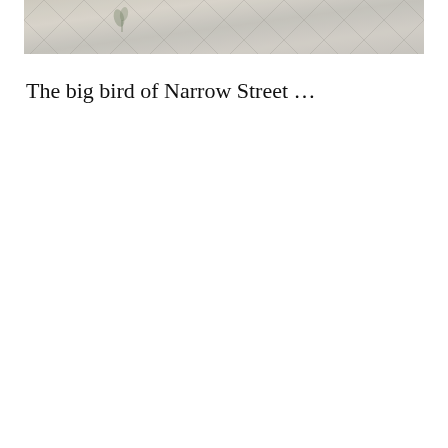[Figure (photo): A partial photograph showing a stone or tile surface with a chevron/diamond pattern, muted beige and grey tones, with a small plant visible in the upper portion. The image is cropped to a horizontal strip at the top of the page.]
The big bird of Narrow Street …